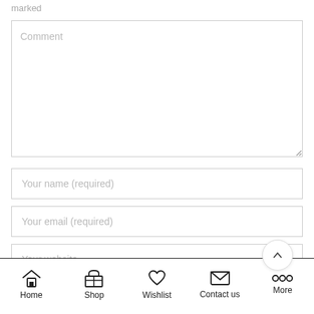marked
[Figure (screenshot): Comment textarea input box with placeholder text 'Comment']
[Figure (screenshot): Text input field with placeholder 'Your name (required)']
[Figure (screenshot): Text input field with placeholder 'Your email (required)']
[Figure (screenshot): Text input field with placeholder 'Your website', with a circular scroll-to-top button overlapping]
Home  Shop  Wishlist  Contact us  More